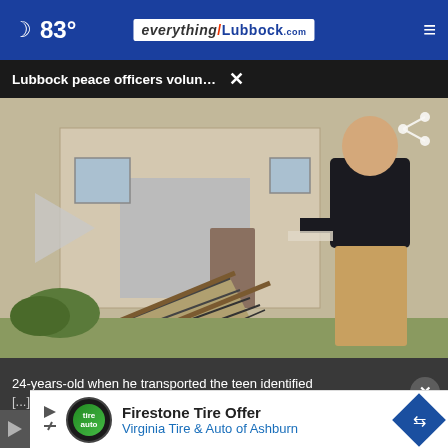83° everything/Lubbock.com
Lubbock peace officers volunteer to deliver Meals...
[Figure (screenshot): Video thumbnail showing a person in a dark shirt and tan pants walking toward a house with a ramp. A play button is visible on the left side of the video frame.]
24-years-old when he transported the teen identified
[...]
[Figure (infographic): Advertisement for Firestone Tire Offer - Virginia Tire & Auto of Ashburn with logo and navigation arrow icon]